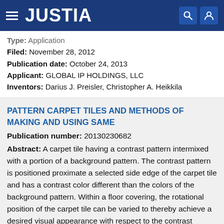JUSTIA
Type: Application
Filed: November 28, 2012
Publication date: October 24, 2013
Applicant: GLOBAL IP HOLDINGS, LLC
Inventors: Darius J. Preisler, Christopher A. Heikkila
PATTERN CARPET TILES AND METHODS OF MAKING AND USING SAME
Publication number: 20130230682
Abstract: A carpet tile having a contrast pattern intermixed with a portion of a background pattern. The contrast pattern is positioned proximate a selected side edge of the carpet tile and has a contrast color different than the colors of the background pattern. Within a floor covering, the rotational position of the carpet tile can be varied to thereby achieve a desired visual appearance with respect to the contrast patterns of